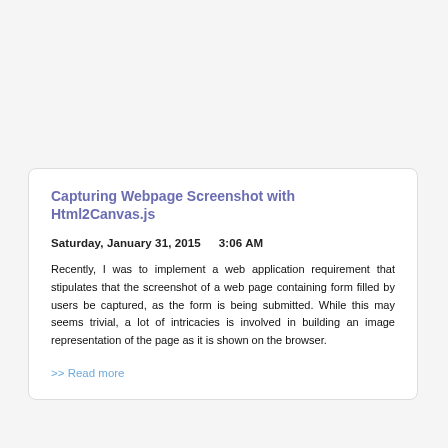Capturing Webpage Screenshot with Html2Canvas.js
Saturday, January 31, 2015    3:06 AM
Recently, I was to implement a web application requirement that stipulates that the screenshot of a web page containing form filled by users be captured, as the form is being submitted. While this may seems trivial, a lot of intricacies is involved in building an image representation of the page as it is shown on the browser.
>> Read more